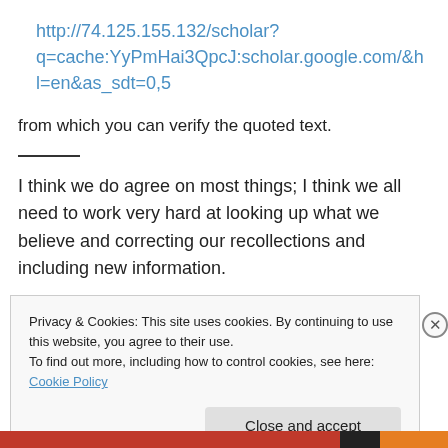http://74.125.155.132/scholar?q=cache:YyPmHai3QpcJ:scholar.google.com/&hl=en&as_sdt=0,5
from which you can verify the quoted text.
I think we do agree on most things; I think we all need to work very hard at looking up what we believe and correcting our recollections and including new information.
Privacy & Cookies: This site uses cookies. By continuing to use this website, you agree to their use.
To find out more, including how to control cookies, see here: Cookie Policy